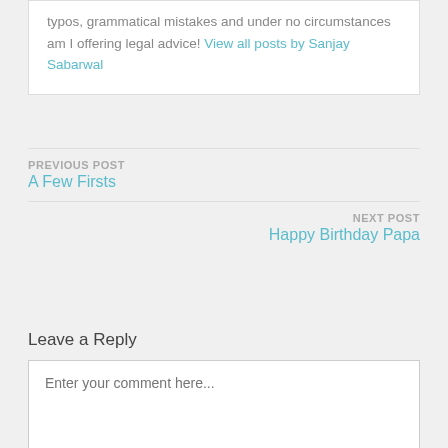typos, grammatical mistakes and under no circumstances am I offering legal advice! View all posts by Sanjay Sabarwal
PREVIOUS POST
A Few Firsts
NEXT POST
Happy Birthday Papa
Leave a Reply
Enter your comment here...